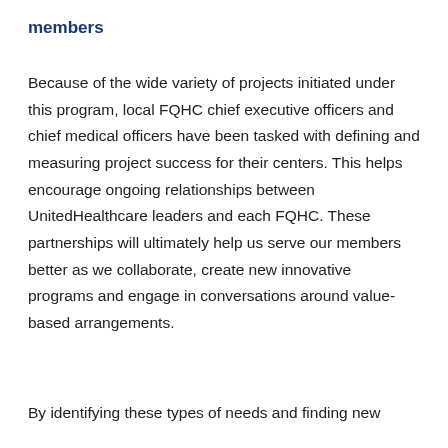members
Because of the wide variety of projects initiated under this program, local FQHC chief executive officers and chief medical officers have been tasked with defining and measuring project success for their centers. This helps encourage ongoing relationships between UnitedHealthcare leaders and each FQHC. These partnerships will ultimately help us serve our members better as we collaborate, create new innovative programs and engage in conversations around value-based arrangements.
By identifying these types of needs and finding new